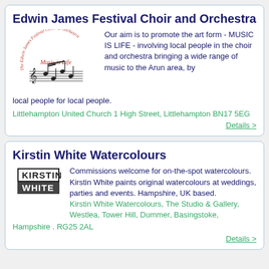Edwin James Festival Choir and Orchestra
[Figure (logo): Circular logo reading 'The Edwin James Festival Choir & Orchestra' with musical notes and text 'Music is Life' in the center]
Our aim is to promote the art form - MUSIC IS LIFE - involving local people in the choir and orchestra bringing a wide range of music to the Arun area, by local people for local people.
Littlehampton United Church 1 High Street, Littlehampton BN17 5EG
Details >
Kirstin White Watercolours
[Figure (logo): Kirstin White logo with black border top half and dark grey bottom half]
Commissions welcome for on-the-spot watercolours. Kirstin White paints original watercolours at weddings, parties and events. Hampshire, UK based.
Kirstin White Watercolours, The Studio & Gallery, Westlea, Tower Hill, Dummer, Basingstoke, Hampshire . RG25 2AL
Details >